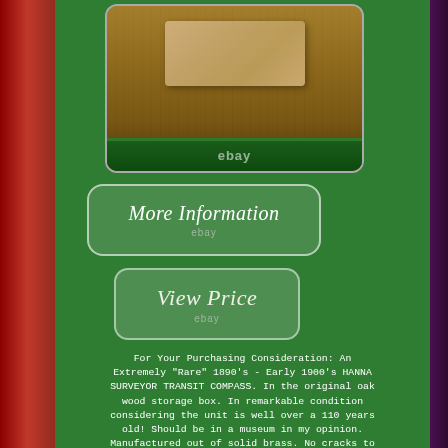[Figure (photo): Photo of an antique surveyor transit compass case showing a wrinkled paper/document on wood surface with green case edge at bottom, eBay watermark overlay]
[Figure (other): More Information button with ebay watermark on green background]
[Figure (other): View Price button with ebay watermark on green background]
For Your Purchasing Consideration: An Extremely "Rare" 1890's - Early 1900's HANNA SURVEYOR TRANSIT COMPASS. In the original oak wood storage box. In remarkable condition considering the unit is well over a 110 years old! Should be in a museum in my opinion. Manufactured out of solid brass. No cracks to the glass. On the dial it reads The Hanna MFG CO. The Patina " Screams " on this antique.